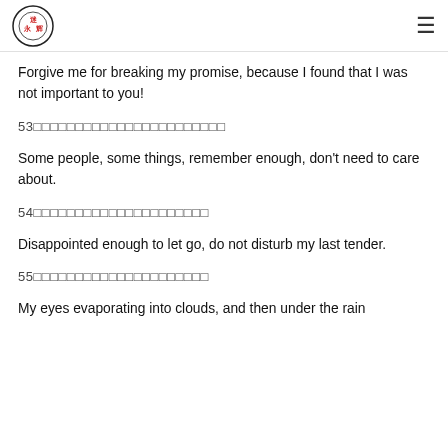Logo and navigation menu
Forgive me for breaking my promise, because I found that I was not important to you!
53□□□□□□□□□□□□□□□□□□□□□□□
Some people, some things, remember enough, don't need to care about.
54□□□□□□□□□□□□□□□□□□□□□
Disappointed enough to let go, do not disturb my last tender.
55□□□□□□□□□□□□□□□□□□□□□
My eyes evaporating into clouds, and then under the rain